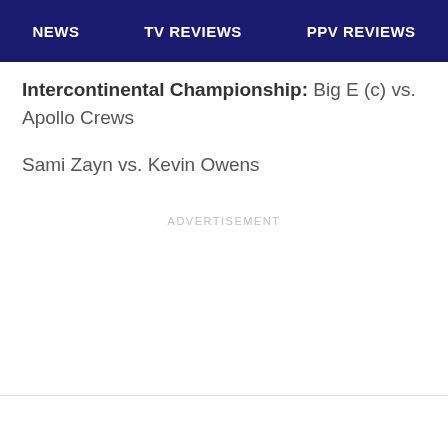NEWS  TV REVIEWS  PPV REVIEWS
Intercontinental Championship: Big E (c) vs. Apollo Crews
Sami Zayn vs. Kevin Owens
ADVERTISEMENT